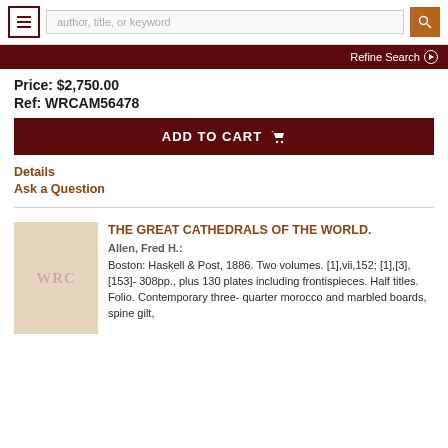author, title, or keyword | Refine Search
Price: $2,750.00
Ref: WRCAM56478
ADD TO CART
Details
Ask a Question
THE GREAT CATHEDRALS OF THE WORLD.
Allen, Fred H.:
Boston: Haskell & Post, 1886. Two volumes. [1],vii,152; [1],[3],[153]- 308pp., plus 130 plates including frontispieces. Half titles. Folio. Contemporary three- quarter morocco and marbled boards, spine gilt,